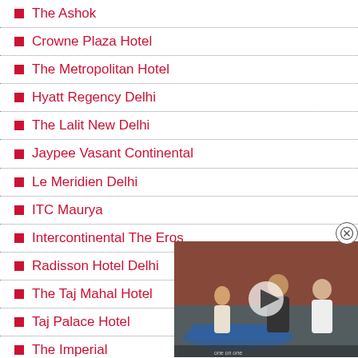The Ashok
Crowne Plaza Hotel
The Metropolitan Hotel
Hyatt Regency Delhi
The Lalit New Delhi
Jaypee Vasant Continental
Le Meridien Delhi
ITC Maurya
Intercontinental The Eros
Radisson Hotel Delhi
The Taj Mahal Hotel
Taj Palace Hotel
The Imperial
The Park
5 Star Hotels
[Figure (photo): A photo overlay showing people near a car, with a play button icon over it, and a close (X) button in the top-right corner of the overlay.]